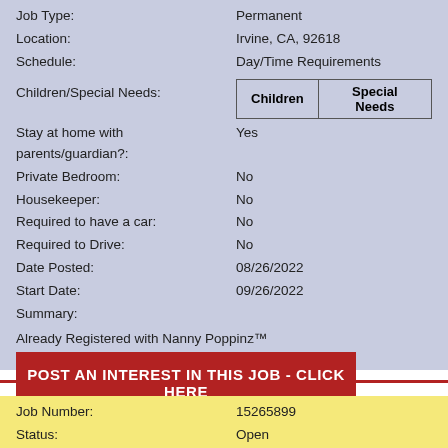Job Type: Permanent
Location: Irvine, CA, 92618
Schedule: Day/Time Requirements
Children/Special Needs:
| Children | Special Needs |
| --- | --- |
Stay at home with parents/guardian?: Yes
Private Bedroom: No
Housekeeper: No
Required to have a car: No
Required to Drive: No
Date Posted: 08/26/2022
Start Date: 09/26/2022
Summary:
Already Registered with Nanny Poppinz™
POST AN INTEREST IN THIS JOB - CLICK HERE
Job Number: 15265899
Status: Open